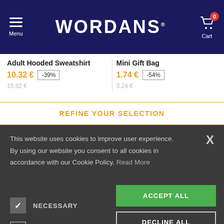WORDANS — Menu / Cart navigation bar
Adult Hooded Sweatshirt
10.32 € -39%
Mini Gift Bag
1.74 € -54%
REFINE YOUR SELECTION
This website uses cookies to improve user experience. By using our website you consent to all cookies in accordance with our Cookie Policy. Read More
NECESSARY (checked)
PERFORMANCE
ADVERTISING
FUNCTIONALITY